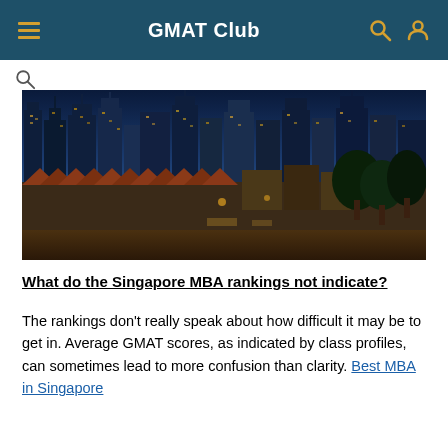GMAT Club
[Figure (photo): Aerial/skyline view of Singapore at dusk showing skyscrapers and older low-rise buildings in the foreground]
What do the Singapore MBA rankings not indicate?
The rankings don't really speak about how difficult it may be to get in. Average GMAT scores, as indicated by class profiles, can sometimes lead to more confusion than clarity. Best MBA in Singapore